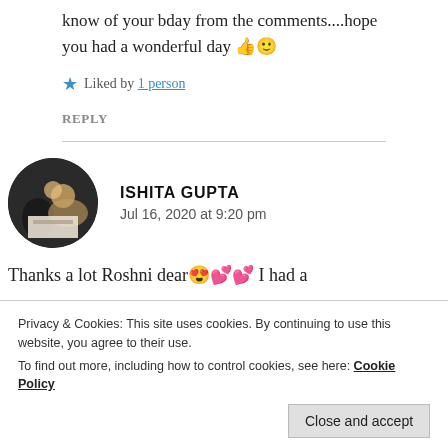know of your bday from the comments....hope you had a wonderful day 👍🙂
★ Liked by 1 person
REPLY
ISHITA GUPTA
Jul 16, 2020 at 9:20 pm
Thanks a lot Roshni dear😍💕💕 I had a
Privacy & Cookies: This site uses cookies. By continuing to use this website, you agree to their use.
To find out more, including how to control cookies, see here: Cookie Policy
Close and accept
REPLY